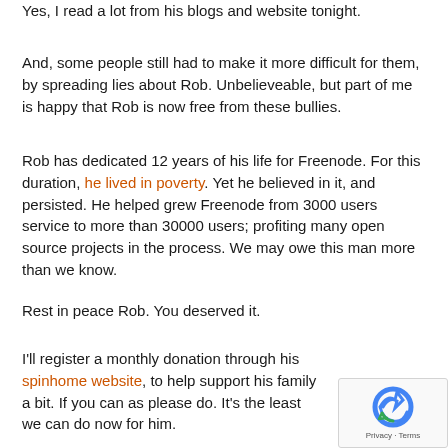Yes, I read a lot from his blogs and website tonight.
And, some people still had to make it more difficult for them, by spreading lies about Rob. Unbelieveable, but part of me is happy that Rob is now free from these bullies.
Rob has dedicated 12 years of his life for Freenode. For this duration, he lived in poverty. Yet he believed in it, and persisted. He helped grew Freenode from 3000 users service to more than 30000 users; profiting many open source projects in the process. We may owe this man more than we know.
Rest in peace Rob. You deserved it.
I'll register a monthly donation through his spinhome website, to help support his family a bit. If you can as please do. It's the least we can do now for him.